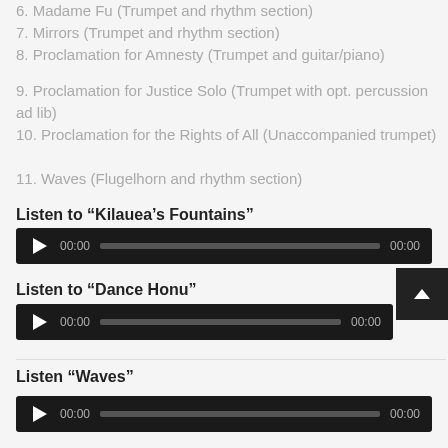6. Madame Fu (Trumpet and rhythm section)
7. Mirrors (Trumpet and rhythm section)
8. Proclamation for Amnesty (Trumpet and guitar/piano)
9. Proclamation for Justice Solo (Trumpet with opt. percussion ad lib)
10. Proclamation for the Rights of All (Unaccompanied trumpet)
11. Waves (Flugelhorn and rhythm section)
Listen to “Kilauea’s Fountains”
[Figure (other): Audio player with play button, progress bar, and time display showing 00:00 / 00:00]
Listen to “Dance Honu”
[Figure (other): Audio player with play button, progress bar, and time display showing 00:00 / 00:00]
Listen “Waves”
[Figure (other): Audio player with play button, progress bar, partially visible at bottom]